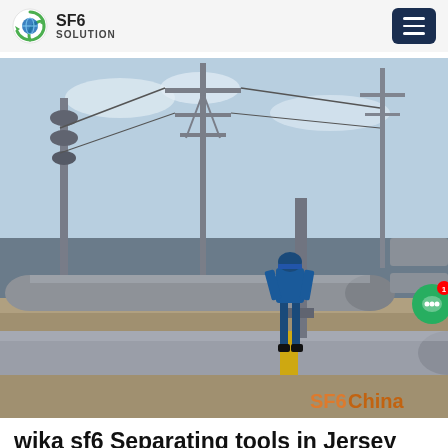SF6 SOLUTION
[Figure (photo): Worker in blue coveralls operating SF6 gas equipment (large grey cylindrical pipes/tubes) at an electrical substation with high-voltage infrastructure and transmission towers in the background. Overlay shows a live chat popup from 'SF6 Expert' reading: 'we can send you catalogue and price list for you choosing. Leave us your email or whatsapp.' A green chat bubble button with badge '1' is visible on the right side. Bottom-right watermark reads 'SF6China' in orange.]
wika sf6 Separating tools in Jersey